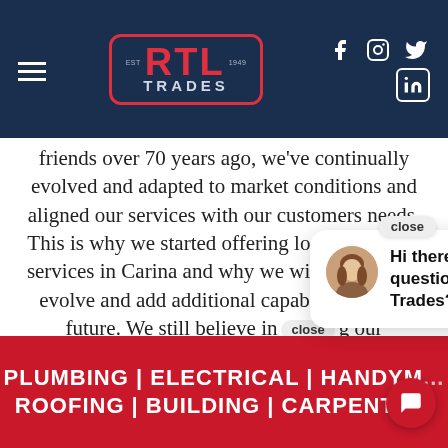[Figure (logo): RTL Trades company logo in red text on dark navy header, with hamburger menu and social media icons (Facebook, Instagram, Twitter, LinkedIn)]
friends over 70 years ago, we've continually evolved and adapted to market conditions and aligned our services with our customers needs. This is why we started offering local plumbing services in Carina and why we will continue to evolve and add additional capabilities in the future. We still believe in [close] g our customers [chat popup] g to their issue [chat popup] e solution. Whe [chat popup] e and knowledge [chat popup] y care to deliver an end-result that is long-lasting, safe
Hi there, have a question for RTL Trades? Text us here.
PLUMBING | ELECTRICAL | HANDYM... ROOFING | BUILDING | CARPENTH...